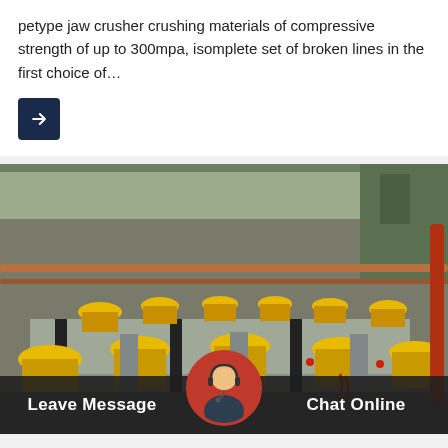petype jaw crusher crushing materials of compressive strength of up to 300mpa, isomplete set of broken lines in the first choice of…
[Figure (photo): Industrial factory floor with rows of yellow-topped machines (likely flotation or processing equipment) arranged in parallel lines inside a large warehouse facility.]
Leave Message
Chat Online